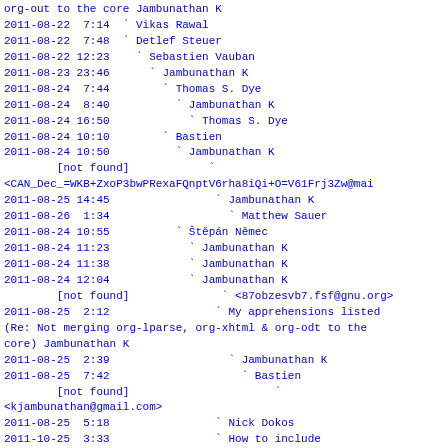org-out to the core Jambunathan K
2011-08-22  7:14  ` Vikas Rawal
2011-08-22  7:48  ` Detlef Steuer
2011-08-22 12:23    ` Sebastien Vauban
2011-08-23 23:46      ` Jambunathan K
2011-08-24  7:44        ` Thomas S. Dye
2011-08-24  8:40          ` Jambunathan K
2011-08-24 16:50            ` Thomas S. Dye
2011-08-24 10:10        ` Bastien
2011-08-24 10:50          ` Jambunathan K
        [not found]            `
<CAN_Dec_=WKB+ZxoP3bwPRexaFQnptV6rha8iQi+O=V61Frj3Zw@mai
2011-08-25 14:45                ` Jambunathan K
2011-08-26  1:34                  ` Matthew Sauer
2011-08-24 10:55          ` Štěpán Němec
2011-08-24 11:23            ` Jambunathan K
2011-08-24 11:38            ` Jambunathan K
2011-08-24 12:04            ` Jambunathan K
        [not found]              ` <87obzesvb7.fsf@gnu.org>
2011-08-25  2:12                ` My apprehensions listed
(Re: Not merging org-lparse, org-xhtml & org-odt to the
core) Jambunathan K
2011-08-25  2:39                  ` Jambunathan K
2011-08-25  7:42                    ` Bastien
        [not found]                      `
<kjambunathan@gmail.com>
2011-08-25  5:18                ` Nick Dokos
2011-10-25  3:33                ` How to include
comments on export? org-exp-blocks.el? Nick Dokos
2011-10-25  4:32                  ` Jambunathan K
2011-10-27 16:29                    ` OT: collapse of